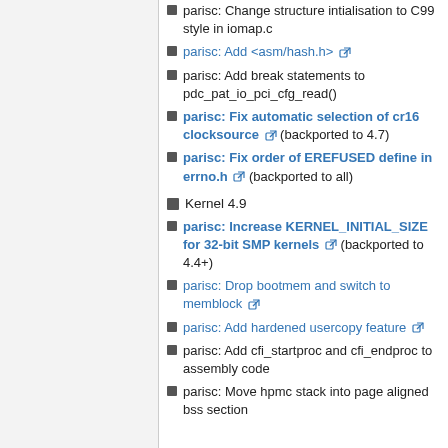parisc: Change structure intialisation to C99 style in iomap.c
parisc: Add <asm/hash.h> [link]
parisc: Add break statements to pdc_pat_io_pci_cfg_read()
parisc: Fix automatic selection of cr16 clocksource [link] (backported to 4.7)
parisc: Fix order of EREFUSED define in errno.h [link] (backported to all)
Kernel 4.9
parisc: Increase KERNEL_INITIAL_SIZE for 32-bit SMP kernels [link] (backported to 4.4+)
parisc: Drop bootmem and switch to memblock [link]
parisc: Add hardened usercopy feature [link]
parisc: Add cfi_startproc and cfi_endproc to assembly code
parisc: Move hpmc stack into page aligned bss section